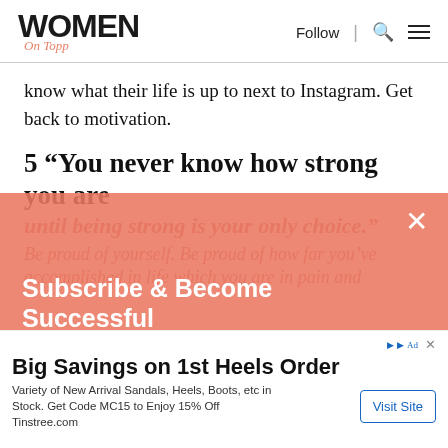WOMEN On Topp | Follow | [search] [menu]
know what their life is up to next to Instagram. Get back to motivation.
5 “You never know how strong you are until being strong is your only choice.”
Be proud of yourself. Be proud of how far you’ve accomplished in life which you are in pain and...
[Figure (screenshot): Coral/salmon colored subscription overlay banner with text 'Subscribe & Become Successful' and 'receive our newsletters and updates by email', with a close (X) button]
use cookies to ensure that we give you the best experience on
[Figure (screenshot): Advertisement banner: 'Big Savings on 1st Heels Order - Variety of New Arrival Sandals, Heels, Boots, etc in Stock. Get Code MC15 to Enjoy 15% Off Tinstree.com' with a 'Visit Site' button]